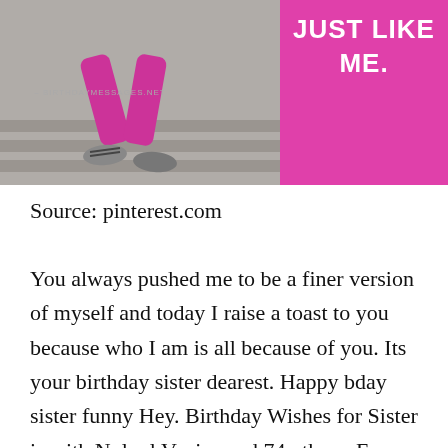[Figure (photo): Photo of a person wearing pink/magenta outfit sitting on stone steps, with a pink background on the right side containing bold white text 'JUST LIKE ME.' and a watermark '- BIRTHDAYMESSAGES.NET']
Source: pinterest.com
You always pushed me to be a finer version of myself and today I raise a toast to you because who I am is all because of you. Its your birthday sister dearest. Happy bday sister funny Hey. Birthday Wishes for Sister is with Nylnyl Vanice and 74 others. For as long as you can remember your sister has